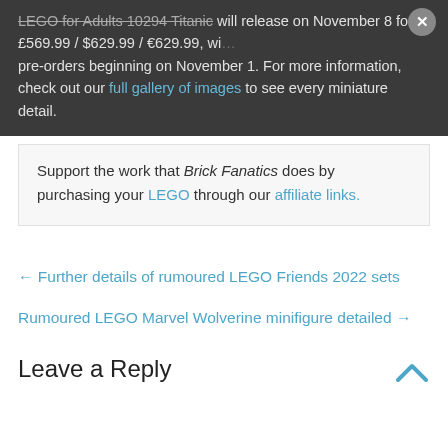LEGO for Adults 10294 Titanic will release on November 8 for £569.99 / $629.99 / €629.99, with pre-orders beginning on November 1. For more information, check out our full gallery of images to see every miniature detail.
Support the work that Brick Fanatics does by purchasing your LEGO through our affiliate links.
← Further details of rumoured LEGO Friends 2022 sets
Rumoured LEGO Marvel Wolverine minifigure detailed →
Leave a Reply